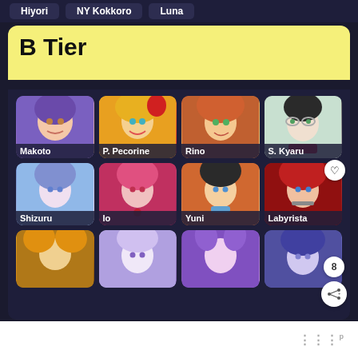Hiyori
NY Kokkoro
Luna
B Tier
[Figure (illustration): Anime character card grid for B Tier showing: Makoto (purple-haired girl), P. Pecorine (blonde girl), Rino (orange-haired girl), S. Kyaru (dark-haired girl with sunglasses), Shizuru (blue-haired girl), Io (pink-haired girl), Yuni (orange-haired girl), Labyrista (red-haired girl), and partial bottom row of 4 more characters]
8